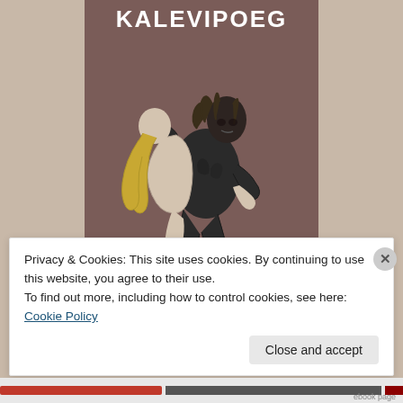[Figure (illustration): Book cover for 'Kalevipoeg' showing a dark muscular figure grappling with a lighter figure against a brownish-mauve background, with the title 'KALEVIPOEG' in bold white capital letters at the top.]
Privacy & Cookies: This site uses cookies. By continuing to use this website, you agree to their use.
To find out more, including how to control cookies, see here: Cookie Policy
Close and accept